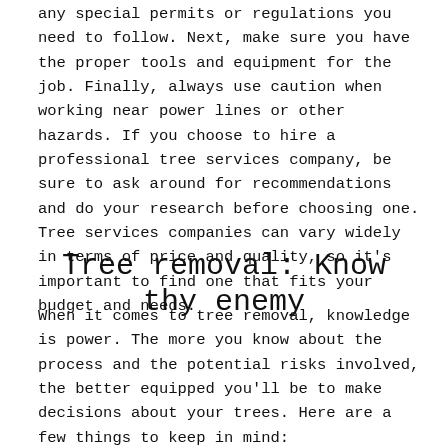any special permits or regulations you need to follow. Next, make sure you have the proper tools and equipment for the job. Finally, always use caution when working near power lines or other hazards. If you choose to hire a professional tree services company, be sure to ask around for recommendations and do your research before choosing one. Tree services companies can vary widely in terms of price and quality, so it's important to find one that fits your budget and needs.
Tree removal: Know thy enemy
When it comes to tree removal, knowledge is power. The more you know about the process and the potential risks involved, the better equipped you'll be to make decisions about your trees. Here are a few things to keep in mind: